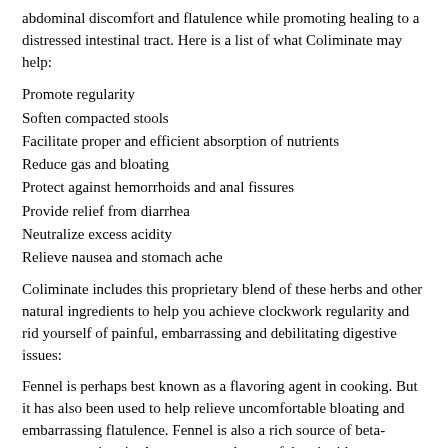abdominal discomfort and flatulence while promoting healing to a distressed intestinal tract. Here is a list of what Coliminate may help:
Promote regularity
Soften compacted stools
Facilitate proper and efficient absorption of nutrients
Reduce gas and bloating
Protect against hemorrhoids and anal fissures
Provide relief from diarrhea
Neutralize excess acidity
Relieve nausea and stomach ache
Coliminate includes this proprietary blend of these herbs and other natural ingredients to help you achieve clockwork regularity and rid yourself of painful, embarrassing and debilitating digestive issues:
Fennel is perhaps best known as a flavoring agent in cooking. But it has also been used to help relieve uncomfortable bloating and embarrassing flatulence. Fennel is also a rich source of beta-carotene, a vitamin-A precursor and powerful antioxidant.
Ginger is one of natures most versatile plants when it comes to addressing a great variety of digestive issues. It has been used